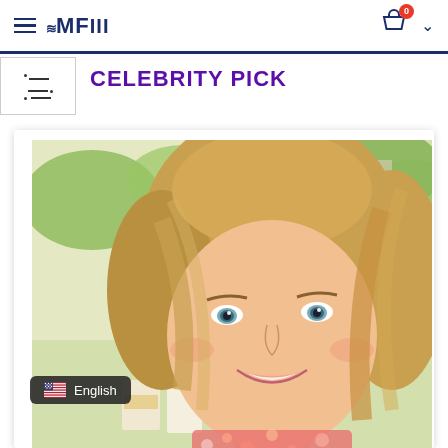≋MF III navigation header with hamburger menu, logo, cart (0), chevron
CELEBRITY PICK
[Figure (photo): Smiling blonde woman taking a selfie indoors near a window, wearing a floral top, with flowers and product boxes visible in background]
English